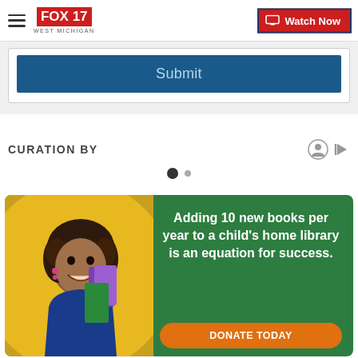FOX 17 WEST MICHIGAN | Watch Now
Submit
CURATION BY
[Figure (other): Carousel pagination dots: one large filled dot and one smaller grey dot]
[Figure (photo): Advertisement banner with green background. Left side shows a smiling young Black girl with curly hair holding books, set against a yellow circular background. Right side reads: 'Adding 10 new books per year to a child’s home library is an equation for success.' with a DONATE TODAY orange button at the bottom.]